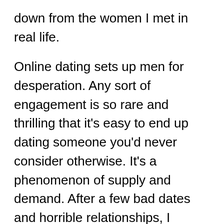down from the women I met in real life.
Online dating sets up men for desperation. Any sort of engagement is so rare and thrilling that it's easy to end up dating someone you'd never consider otherwise. It's a phenomenon of supply and demand. After a few bad dates and horrible relationships, I decided online dating is not for me.
Imagine if you're short, obese, uneducated, and poor. Most American men don't meet Hollywood's expectations of what a man should be. Unless they excel at manipulating